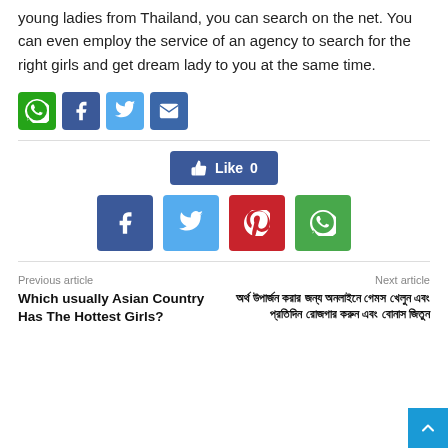young ladies from Thailand, you can search on the net. You can even employ the service of an agency to search for the right girls and get dream lady to you at the same time.
[Figure (other): Social share buttons row: WhatsApp (green), Facebook (blue), Twitter (light blue), Email (blue)]
[Figure (other): Facebook Like button showing count 0]
[Figure (other): Large social share buttons: Facebook, Twitter, Pinterest, WhatsApp]
Previous article
Which usually Asian Country Has The Hottest Girls?
Next article
অর্থ উপার্জন করার জন্য অনলাইনে গেমস খেলুন এবং প্রতিদিন রোজগার করুন এবং বোনাস জিতুন